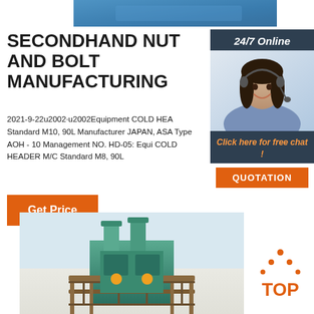[Figure (photo): Top banner image of manufacturing equipment in blue/orange tones]
SECONDHAND NUT AND BOLT MANUFACTURING
[Figure (photo): Sidebar with 24/7 Online banner, customer service representative photo, Click here for free chat text, and QUOTATION orange button]
2021-9-22u2002·u2002Equipment COLD HEA Standard M10, 90L Manufacturer JAPAN, ASA Type AOH - 10 Management NO. HD-05: Equi COLD HEADER M/C Standard M8, 90L
[Figure (illustration): Orange Get Price button]
[Figure (photo): Industrial manufacturing machine - cold header machine in teal/green color]
[Figure (logo): TOP logo with orange dots forming a triangle above the word TOP in orange]